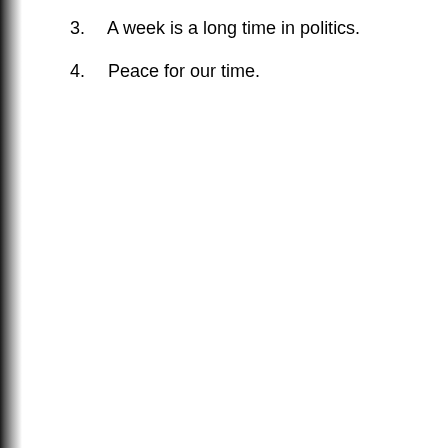3.  A week is a long time in politics.
4.  Peace for our time.